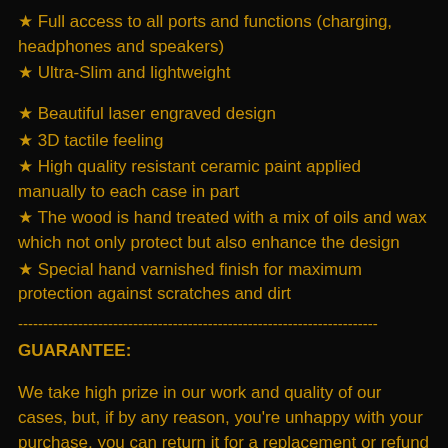★ Full access to all ports and functions (charging, headphones and speakers)
★ Ultra-Slim and lightweight
★ Beautiful laser engraved design
★ 3D tactile feeling
★ High quality resistant ceramic paint applied manually to each case in part
★ The wood is hand treated with a mix of oils and wax which not only protect but also enhance the design
★ Special hand varnished finish for maximum protection against scratches and dirt
GUARANTEE:
We take high prize in our work and quality of our cases, but, if by any reason, you're unhappy with your purchase, you can return it for a replacement or refund (please see policies for more details).
Also, we're happy to assist with any questions you may have,